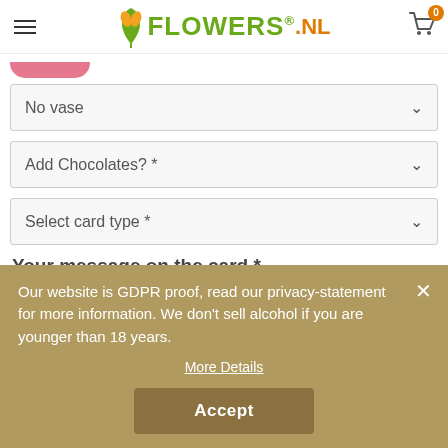FLOWERS.NL
No vase
Add Chocolates? *
Select card type *
Your message on the card *
(please mention name of the sender)
Our website is GDPR proof, read our privacy-statement for more information. We don't sell alcohol if you are younger than 18 years.
More Details
Accept